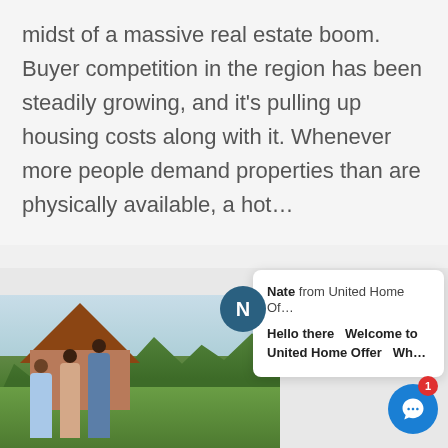midst of a massive real estate boom. Buyer competition in the region has been steadily growing, and it's pulling up housing costs along with it. Whenever more people demand properties than are physically available, a hot...
[Figure (photo): A family walking outdoors in a suburban neighborhood with houses and trees in the background. A child rides a scooter in the foreground.]
Nate from United Home Of...
Hello there  Welcome to United Home Offer  Wh...